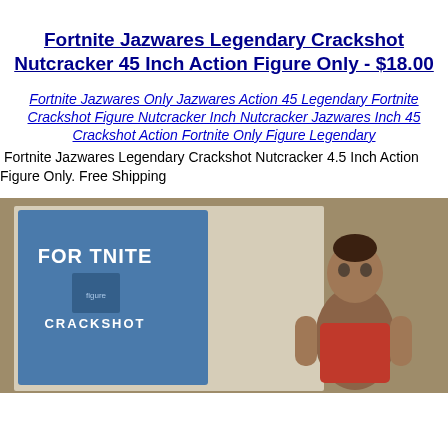Fortnite Jazwares Legendary Crackshot Nutcracker 45 Inch Action Figure Only - $18.00
Fortnite Jazwares Only Jazwares Action 45 Legendary Fortnite Crackshot Figure Nutcracker Inch Nutcracker Jazwares Inch 45 Crackshot Action Fortnite Only Figure Legendary
Fortnite Jazwares Legendary Crackshot Nutcracker 4.5 Inch Action Figure Only. Free Shipping
[Figure (photo): Photo of Fortnite Crackshot Nutcracker action figure next to its blue packaging box showing the Fortnite logo and Crackshot label]